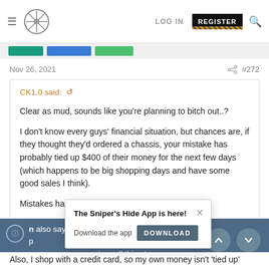Sniper's Hide forum navigation bar with logo, LOG IN, REGISTER, and search
Nov 26, 2021  #272
CK1.0 said:
Clear as mud, sounds like you're planning to bitch out..?

I don't know every guys' financial situation, but chances are, if they thought they'd ordered a chassis, your mistake has probably tied up $400 of their money for the next few days (which happens to be big shopping days and have some good sales I think).

Mistakes have consequences.
[Figure (screenshot): App download popup: 'The Sniper's Hide App is here! Download the app [DOWNLOAD]' with close button]
Also, I shop with a credit card, so my own money isn't 'tied up'